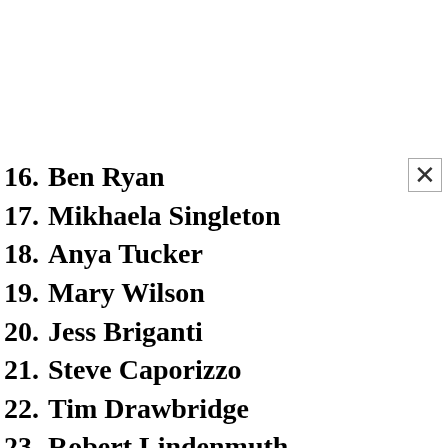16. Ben Ryan
17. Mikhaela Singleton
18. Anya Tucker
19. Mary Wilson
20. Jess Briganti
21. Steve Caporizzo
22. Tim Drawbridge
23. Robert Lindenmuth
24. Matt Mackie
25. Michael Barth
26. Liana Bonavita